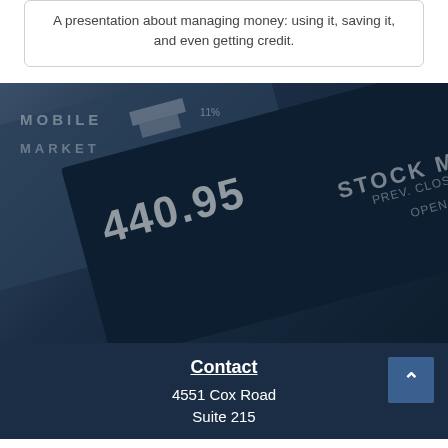A presentation about managing money: using it, saving it, and even getting credit.
[Figure (photo): Dark navy blue background photo showing a tablet/mobile device displaying stock market data including the number 440.95 and labels STOCK M, PREV. CLOS, OPEN, with overlaid text MOBILE and MARKET]
Contact
4551 Cox Road
Suite 215